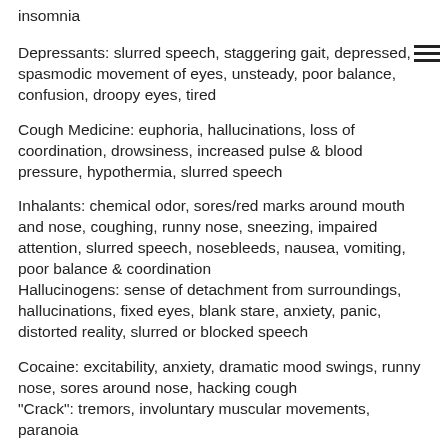insomnia
Depressants: slurred speech, staggering gait, depressed, spasmodic movement of eyes, unsteady, poor balance, confusion, droopy eyes, tired
Cough Medicine: euphoria, hallucinations, loss of coordination, drowsiness, increased pulse & blood pressure, hypothermia, slurred speech
Inhalants: chemical odor, sores/red marks around mouth and nose, coughing, runny nose, sneezing, impaired attention, slurred speech, nosebleeds, nausea, vomiting, poor balance & coordination
Hallucinogens: sense of detachment from surroundings, hallucinations, fixed eyes, blank stare, anxiety, panic, distorted reality, slurred or blocked speech
Cocaine: excitability, anxiety, dramatic mood swings, runny nose, sores around nose, hacking cough
"Crack": tremors, involuntary muscular movements, paranoia